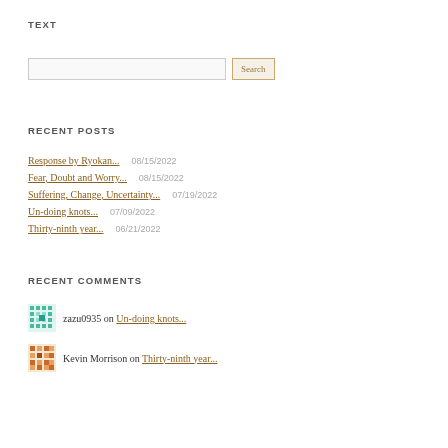TEXT
Search
RECENT POSTS
Response by Ryokan...   08/15/2022
Fear, Doubt and Worry...   08/15/2022
Suffering, Change, Uncertainty...   07/19/2022
Un-doing knots...   07/09/2022
Thirty-ninth year...   06/21/2022
RECENT COMMENTS
zazu0935 on Un-doing knots...
Kevin Morrison on Thirty-ninth year...